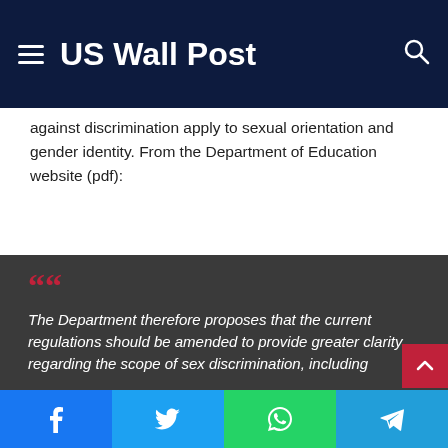US Wall Post
against discrimination apply to sexual orientation and gender identity. From the Department of Education website (pdf):
The Department therefore proposes that the current regulations should be amended to provide greater clarity regarding the scope of sex discrimination, including
Facebook Twitter WhatsApp Telegram